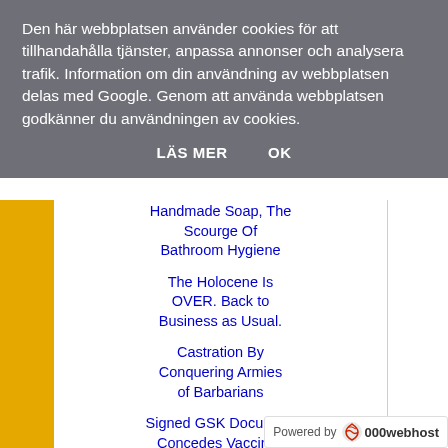Den här webbplatsen använder cookies för att tillhandahålla tjänster, anpassa annonser och analysera trafik. Information om din användning av webbplatsen delas med Google. Genom att använda webbplatsen godkänner du användningen av cookies.
LÄS MER    OK
Handmade Soap, The Scourge Of Bathroom Hygiene
The Holocene Is OVER. Back to Business as Usual.
Castration By Conquering Armies of Barbarians
Signed GSK Document Concedes Vaccines Cause Autism...
No Charges Filed On Baby Buggery Island...
Powered by 000webhost